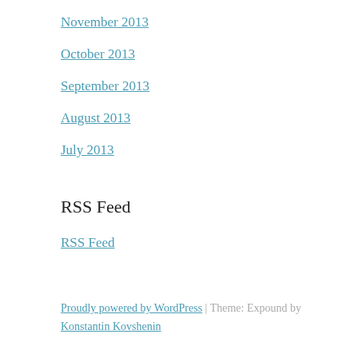November 2013
October 2013
September 2013
August 2013
July 2013
RSS Feed
RSS Feed
Proudly powered by WordPress | Theme: Expound by Konstantin Kovshenin